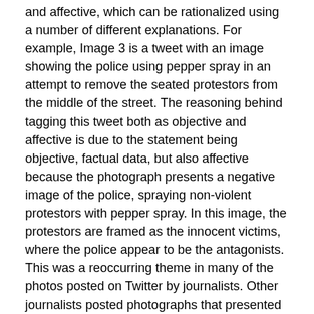and affective, which can be rationalized using a number of different explanations. For example, Image 3 is a tweet with an image showing the police using pepper spray in an attempt to remove the seated protestors from the middle of the street. The reasoning behind tagging this tweet both as objective and affective is due to the statement being objective, factual data, but also affective because the photograph presents a negative image of the police, spraying non-violent protestors with pepper spray. In this image, the protestors are framed as the innocent victims, where the police appear to be the antagonists. This was a reoccurring theme in many of the photos posted on Twitter by journalists. Other journalists posted photographs that presented a situation of Police vs. Protestor, instead of protecting the public and working collectively to create a safe and welcoming community for all. Image 4 shows a clear divide between the protestors and police, which could be understood as rivalry and tension by users viewing this post. In other cases, certain tweets were